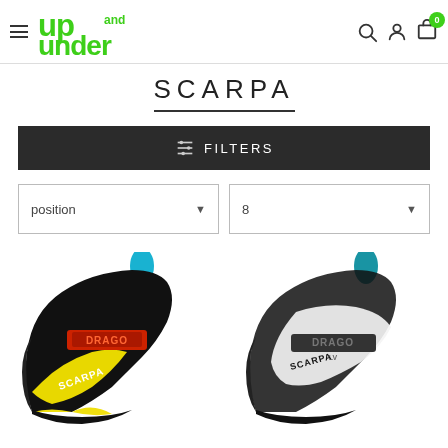Up and Under navigation header with logo, search, account, and cart icons
SCARPA
[Figure (other): Dark filter bar with slider icon and FILTERS label]
position  |  8
[Figure (photo): Two Scarpa climbing shoes side by side — left shoe is black/yellow with red Scarpa DRAGO strap label, right shoe is black/white with teal pull-loop and Scarpa DRAGO LV label]